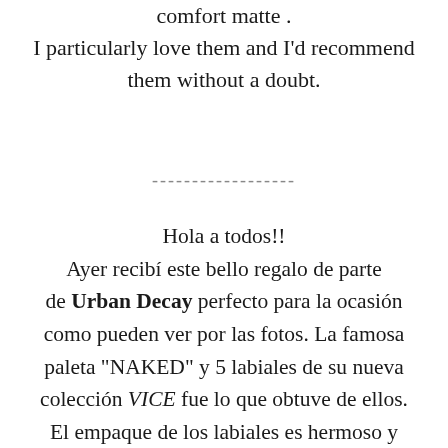comfort matte .
I particularly love them and I'd recommend them without a doubt.
------------------
Hola a todos!!
Ayer recibí este bello regalo de parte de Urban Decay perfecto para la ocasión como pueden ver por las fotos. La famosa paleta "NAKED" y 5 labiales de su nueva colección VICE fue lo que obtuve de ellos. El empaque de los labiales es hermoso y los tonos están preciosos, mis dos favoritos